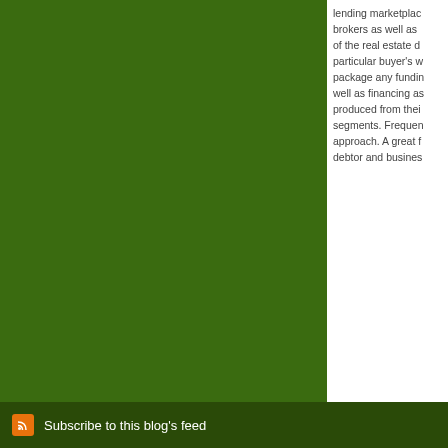lending marketplace brokers as well as of the real estate d particular buyer's w package any fundin well as financing as produced from their segments. Frequen approach. A great f debtor and busines
Jul 3, 2012 8:43:51 P
Com
« Previous
Subscribe to this blog's feed